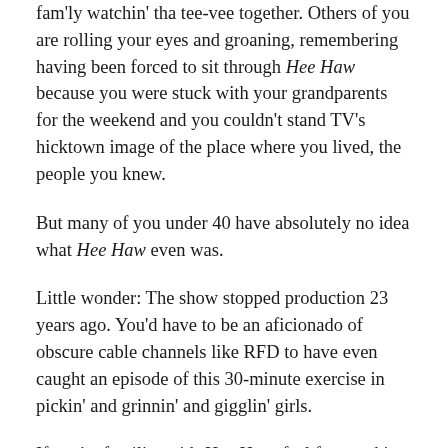fam'ly watchin' tha tee-vee together. Others of you are rolling your eyes and groaning, remembering having been forced to sit through Hee Haw because you were stuck with your grandparents for the weekend and you couldn't stand TV's hicktown image of the place where you lived, the people you knew.
But many of you under 40 have absolutely no idea what Hee Haw even was.
Little wonder: The show stopped production 23 years ago. You'd have to be an aficionado of obscure cable channels like RFD to have even caught an episode of this 30-minute exercise in pickin' and grinnin' and gigglin' girls.
If you're familiar with Hee Haw, feel free to skip the next two paragraphs. For everyone else, Hee Haw was a scripted, half-hour, musical-comedy variety show —